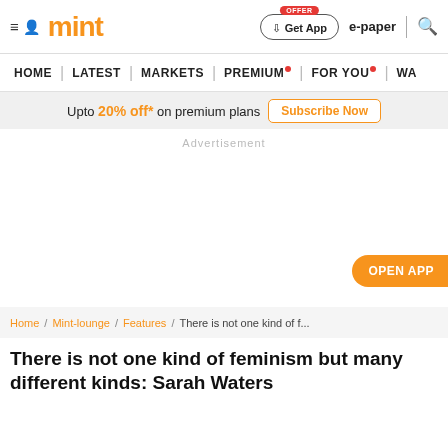≡ 🔍 mint | Get App | e-paper
HOME | LATEST | MARKETS | PREMIUM • | FOR YOU • | WA
Upto 20% off* on premium plans  Subscribe Now
[Figure (other): Advertisement placeholder area with OPEN APP button]
Home / Mint-lounge / Features / There is not one kind of f...
There is not one kind of feminism but many different kinds: Sarah Waters